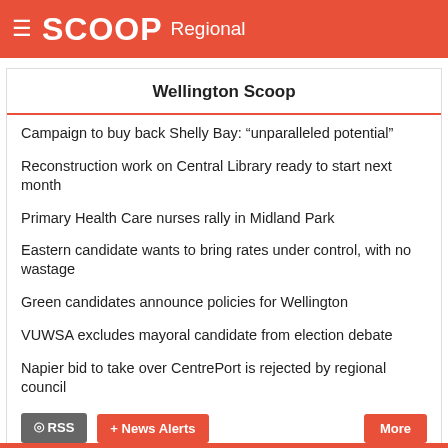SCOOP Regional
Wellington Scoop
Campaign to buy back Shelly Bay: “unparalleled potential”
Reconstruction work on Central Library ready to start next month
Primary Health Care nurses rally in Midland Park
Eastern candidate wants to bring rates under control, with no wastage
Green candidates announce policies for Wellington
VUWSA excludes mayoral candidate from election debate
Napier bid to take over CentrePort is rejected by regional council
POLITICS SECTION